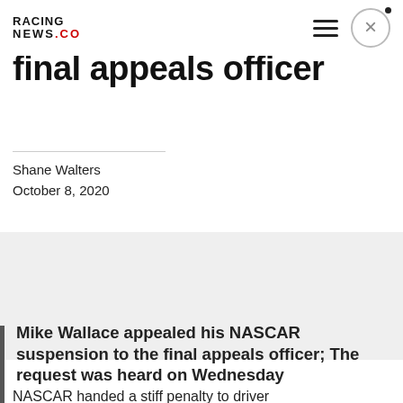RacingNews.co
final appeals officer
Shane Walters
October 8, 2020
[Figure (other): Advertisement / placeholder grey block]
Mike Wallace appealed his NASCAR suspension to the final appeals officer; The request was heard on Wednesday
NASCAR handed a stiff penalty to driver